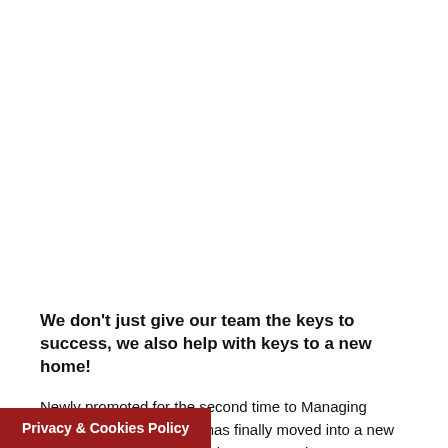We don't just give our team the keys to success, we also help with keys to a new home!
Newly promoted for the second time to Managing Consultant, Tom Norton, has finally moved into a new home. Here at Astute we always try our best to support our team as much as we can. From our Friday pub lunch club, to
Privacy & Cookies Policy